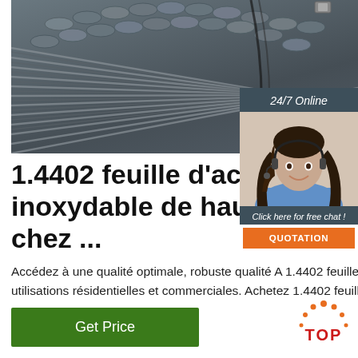[Figure (photo): Bundle of steel rods/rebar viewed from the end, grey metallic color]
[Figure (infographic): 24/7 Online chat widget with female customer service agent wearing headset, 'Click here for free chat!' text and orange QUOTATION button]
1.4402 feuille d'acier inoxydable de haute qu chez ...
Accédez à une qualité optimale, robuste qualité A 1.4402 feuille d'acier inoxydable Alibaba.com pour de multiples utilisations résidentielles et commerciales. Achetez 1.4402 feuille d'acier inoxydable sur des offres de leure
[Figure (logo): TOP logo with orange dots arranged in arch above red TOP text]
Get Price